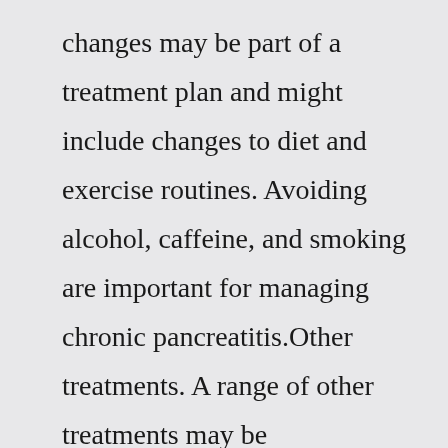changes may be part of a treatment plan and might include changes to diet and exercise routines. Avoiding alcohol, caffeine, and smoking are important for managing chronic pancreatitis.Other treatments. A range of other treatments may be recommended to fix the underlying cause of the pancreatitis. They include: surgery to find and remove any cause of blockage to tubes from the pancreas, such as gallstones.